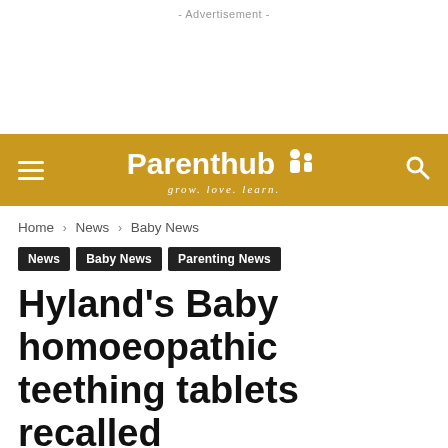- Advertisement -
[Figure (other): Advertisement space (blank white area)]
Parenthub — grow. love. learn. (navigation bar with hamburger menu and search icon)
Home › News › Baby News
News
Baby News
Parenting News
Hyland's Baby homoeopathic teething tablets recalled
(No Ratings Yet)